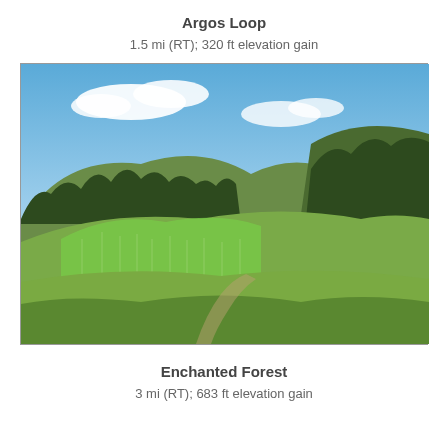Argos Loop
1.5 mi (RT); 320 ft elevation gain
[Figure (photo): Landscape photograph of a mountain valley with pine trees on hillsides, aspen trees in the middle ground, open grassy meadow in the foreground, and a blue sky with white clouds above.]
Enchanted Forest
3 mi (RT); 683 ft elevation gain